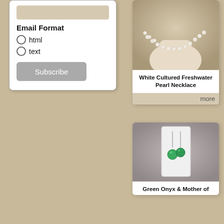Email Format
html
text
Subscribe
[Figure (photo): Pearl necklace on a mannequin neck, white cultured freshwater pearl necklace]
White Cultured Freshwater Pearl Necklace
more
[Figure (photo): Green gemstone earrings on a white display card]
Green Onyx & Mother of...